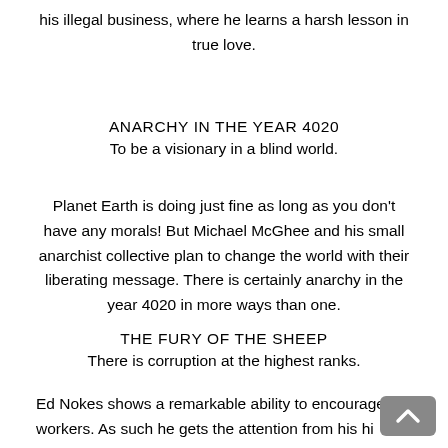his illegal business, where he learns a harsh lesson in true love.
ANARCHY IN THE YEAR 4020
To be a visionary in a blind world.
Planet Earth is doing just fine as long as you don't have any morals! But Michael McGhee and his small anarchist collective plan to change the world with their liberating message. There is certainly anarchy in the year 4020 in more ways than one.
THE FURY OF THE SHEEP
There is corruption at the highest ranks.
Ed Nokes shows a remarkable ability to encourage his workers. As such he gets the attention from his hi…